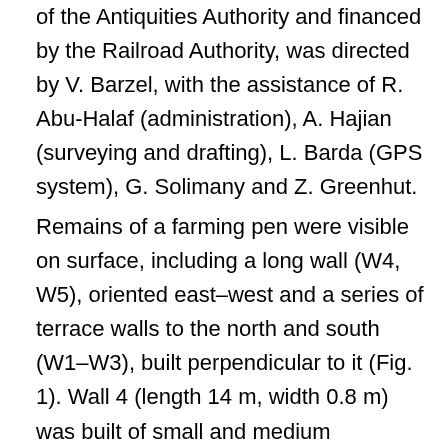of the Antiquities Authority and financed by the Railroad Authority, was directed by V. Barzel, with the assistance of R. Abu-Halaf (administration), A. Hajian (surveying and drafting), L. Barda (GPS system), G. Solimany and Z. Greenhut.
Remains of a farming pen were visible on surface, including a long wall (W4, W5), oriented east–west and a series of terrace walls to the north and south (W1–W3), built perpendicular to it (Fig. 1). Wall 4 (length 14 m, width 0.8 m) was built of small and medium fieldstones. At its western end was Wall 3, large stones, whose eastern face (length 4 m, m) formed a corner with W4. The